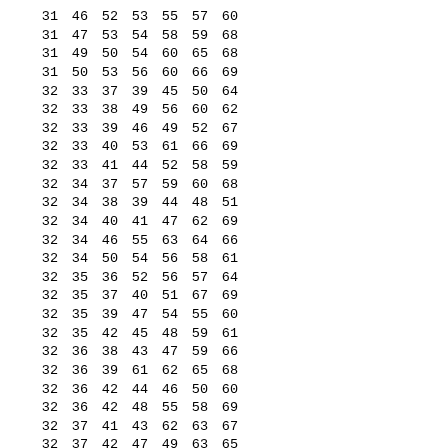| 31 | 46 | 52 | 53 | 55 | 57 | 60 |
| 31 | 47 | 53 | 54 | 58 | 59 | 68 |
| 31 | 49 | 50 | 54 | 60 | 65 | 68 |
| 31 | 50 | 53 | 56 | 60 | 66 | 69 |
| 32 | 33 | 37 | 39 | 45 | 50 | 64 |
| 32 | 33 | 38 | 49 | 56 | 60 | 62 |
| 32 | 33 | 39 | 46 | 49 | 52 | 67 |
| 32 | 33 | 40 | 53 | 61 | 66 | 69 |
| 32 | 33 | 41 | 44 | 52 | 58 | 59 |
| 32 | 34 | 37 | 57 | 59 | 60 | 68 |
| 32 | 34 | 38 | 39 | 44 | 48 | 51 |
| 32 | 34 | 40 | 41 | 47 | 62 | 69 |
| 32 | 34 | 46 | 55 | 63 | 64 | 66 |
| 32 | 34 | 50 | 54 | 56 | 58 | 61 |
| 32 | 35 | 36 | 52 | 56 | 57 | 64 |
| 32 | 35 | 37 | 40 | 51 | 67 | 69 |
| 32 | 35 | 39 | 47 | 54 | 55 | 60 |
| 32 | 35 | 42 | 45 | 48 | 59 | 61 |
| 32 | 36 | 38 | 43 | 47 | 59 | 66 |
| 32 | 36 | 39 | 61 | 62 | 65 | 68 |
| 32 | 36 | 42 | 44 | 46 | 50 | 60 |
| 32 | 36 | 42 | 48 | 55 | 58 | 69 |
| 32 | 37 | 41 | 43 | 62 | 63 | 67 |
| 32 | 37 | 42 | 47 | 49 | 63 | 65 |
| 32 | 37 | 43 | 44 | 53 | 55 | 56 |
| 32 | 38 | 40 | 45 | 52 | 55 | 65 |
| 32 | 38 | 42 | 53 | 54 | 57 | 67 |
| 32 | 39 | 53 | 59 | 63 | 64 | 69 |
| 32 | 40 | 48 | 56 | 63 | 68 | 69 |
| 32 | 41 | 43 | 45 | 46 | 54 | 68 |